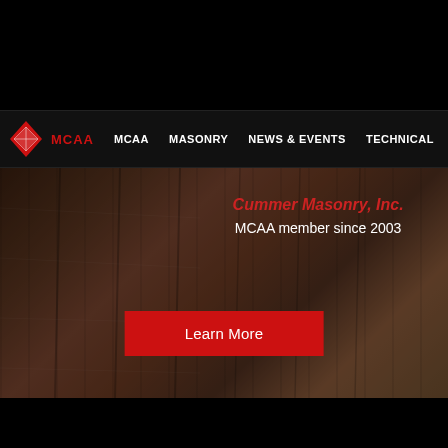MCAA | MASONRY | NEWS & EVENTS | TECHNICAL | ADVO...
[Figure (screenshot): MCAA website hero banner showing brick/masonry background with red text 'Cummer Masonry, Inc.' and white text 'MCAA member since 2003' and a red 'Learn More' button]
Cummer Masonry, Inc.
MCAA member since 2003
Learn More